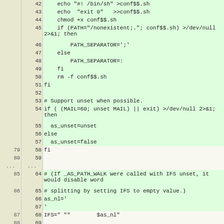| old | new | code |
| --- | --- | --- |
|  | 42 |     echo "#! /bin/sh" >conf$$.sh |
|  | 43 |     echo  "exit 0"   >>conf$$.sh |
|  | 44 |     chmod +x conf$$.sh |
|  | 45 |     if (PATH="/nonexistent;."; conf$$.sh) >/dev/null 2>&1; then |
|  | 46 |         PATH_SEPARATOR=';' |
|  | 47 |     else |
|  | 48 |         PATH_SEPARATOR=: |
|  | 49 |     fi |
|  | 50 |     rm -f conf$$.sh |
|  | 51 | fi |
|  | 52 |  |
|  | 53 | # Support unset when possible. |
|  | 54 | if ( (MAIL=60; unset MAIL) || exit) >/dev/null 2>&1; then |
|  | 55 |   as_unset=unset |
|  | 56 | else |
|  | 57 |   as_unset=false |
| 79 | 58 | fi |
| 80 | 59 |  |
| ... | ... |  |
| 85 | 64 | # (If _AS_PATH_WALK were called with IFS unset, it would disable word |
| 86 | 65 | # splitting by setting IFS to empty value.) |
|  | 66 | as_nl=' |
|  | 67 | ' |
| 87 | 68 | IFS=" ""        $as_nl" |
| 88 | 69 |  |
| 89 | 70 | # Find who we are.  Look in the path if we contain no directory separator. |
| 90 |  | case $0 in #(( |
|  | 71 | case $0 in |